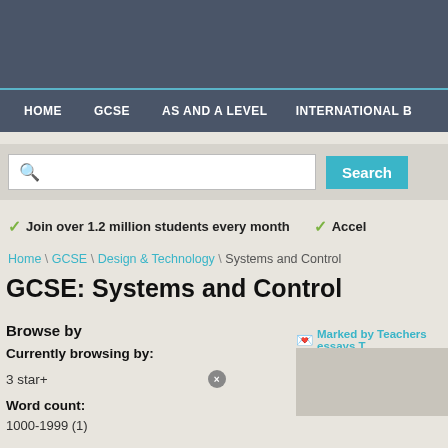HOME | GCSE | AS AND A LEVEL | INTERNATIONAL B
Join over 1.2 million students every month ✓ Accel
Home \ GCSE \ Design & Technology \ Systems and Control
GCSE: Systems and Control
Browse by
Currently browsing by:
3 star+
Word count:
1000-1999 (1)
Marked by Teachers essays T